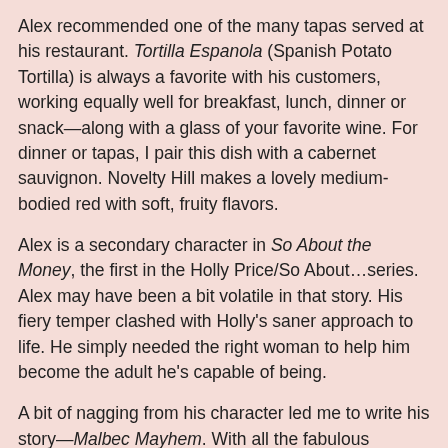Alex recommended one of the many tapas served at his restaurant. Tortilla Espanola (Spanish Potato Tortilla) is always a favorite with his customers, working equally well for breakfast, lunch, dinner or snack—along with a glass of your favorite wine. For dinner or tapas, I pair this dish with a cabernet sauvignon. Novelty Hill makes a lovely medium-bodied red with soft, fruity flavors.
Alex is a secondary character in So About the Money, the first in the Holly Price/So About…series. Alex may have been a bit volatile in that story. His fiery temper clashed with Holly's saner approach to life. He simply needed the right woman to help him become the adult he's capable of being.
A bit of nagging from his character led me to write his story—Malbec Mayhem. With all the fabulous wineries located in eastern Washington, choosing a rising star vintner to challenge him seemed a natural fit. Alex and Sofia understand the importance of family—including the joys and challenges associated with running a family business. They simply have to figure out a way to make their hot-blooded nature work for them.